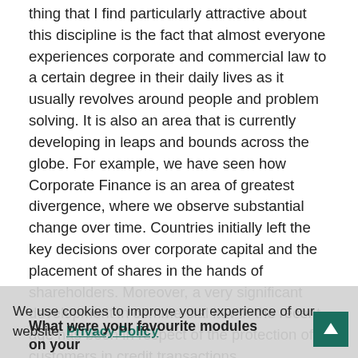thing that I find particularly attractive about this discipline is the fact that almost everyone experiences corporate and commercial law to a certain degree in their daily lives as it usually revolves around people and problem solving. It is also an area that is currently developing in leaps and bounds across the globe. For example, we have seen how Corporate Finance is an area of greatest divergence, where we observe substantial change over time. Countries initially left the key decisions over corporate capital and the placement of shares in the hands of shareholders. Moreover, a very significant development in commercial law in the recent age has been in respect of the protection of customers in credit transactions.
We use cookies to improve your experience of our website. Privacy Policy
What were your favourite modules on your